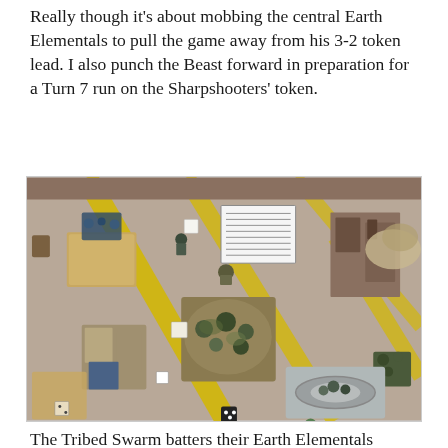Really though it's about mobbing the central Earth Elementals to pull the game away from his 3-2 token lead. I also punch the Beast forward in preparation for a Turn 7 run on the Sharpshooters' token.
[Figure (photo): Overhead photograph of a tabletop miniature wargame in progress. A large grey-beige game board is shown with yellow diagonal markings. Various miniature figures and terrain pieces are arranged across the board including rocky/earth elemental clusters, building ruins, sandy/rocky terrain tiles, dice, cards, and a yellow vehicle model. A white reference sheet is visible near the top center.]
The Tribed Swarm batters their Earth Elementals